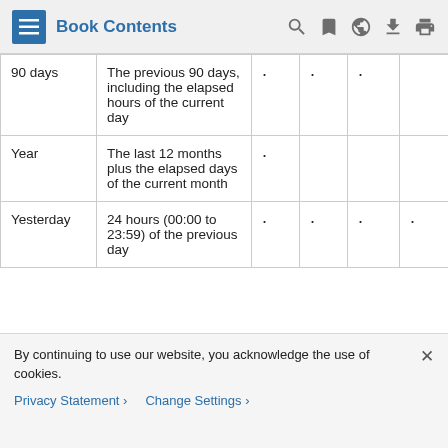Book Contents
|  |  |  |  |  |  |
| --- | --- | --- | --- | --- | --- |
| 90 days | The previous 90 days, including the elapsed hours of the current day | · | · | · |  |
| Year | The last 12 months plus the elapsed days of the current month | · |  |  |  |
| Yesterday | 24 hours (00:00 to 23:59) of the previous day | · | · | · | · |
By continuing to use our website, you acknowledge the use of cookies.
Privacy Statement > Change Settings >